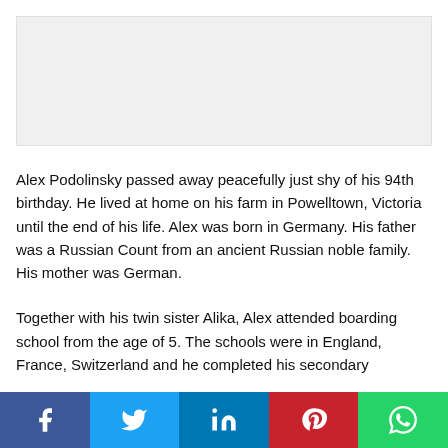[Figure (photo): Gray placeholder image area at the top of the page]
Alex Podolinsky passed away peacefully just shy of his 94th birthday. He lived at home on his farm in Powelltown, Victoria until the end of his life. Alex was born in Germany. His father was a Russian Count from an ancient Russian noble family. His mother was German.
Together with his twin sister Alika, Alex attended boarding school from the age of 5. The schools were in England, France, Switzerland and he completed his secondary
[Figure (other): Social sharing bar with Facebook, Twitter, LinkedIn, Pinterest, and WhatsApp buttons]